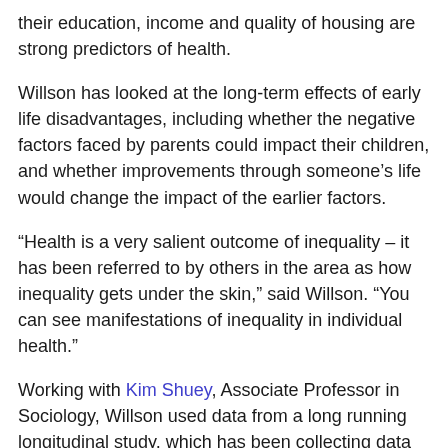their education, income and quality of housing are strong predictors of health.
Willson has looked at the long-term effects of early life disadvantages, including whether the negative factors faced by parents could impact their children, and whether improvements through someone's life would change the impact of the earlier factors.
“Health is a very salient outcome of inequality – it has been referred to by others in the area as how inequality gets under the skin,” said Willson. “You can see manifestations of inequality in individual health.”
Working with Kim Shuey, Associate Professor in Sociology, Willson used data from a long running longitudinal study, which has been collecting data on the same families since 1968.
“We found that a parent’s performance at childhood home th...